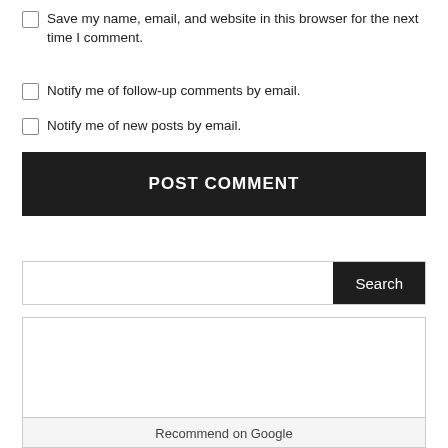Save my name, email, and website in this browser for the next time I comment.
Notify me of follow-up comments by email.
Notify me of new posts by email.
POST COMMENT
Search
[Figure (other): A Google recommendation widget box with a footer label 'Recommend on Google']